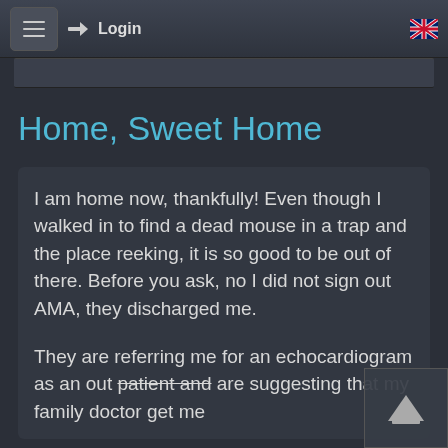≡  Login  🇬🇧
Home, Sweet Home
I am home now, thankfully! Even though I walked in to find a dead mouse in a trap and the place reeking, it is so good to be out of there. Before you ask, no I did not sign out AMA, they discharged me.

They are referring me for an echocardiogram as an out patient and are suggesting that my family doctor get me